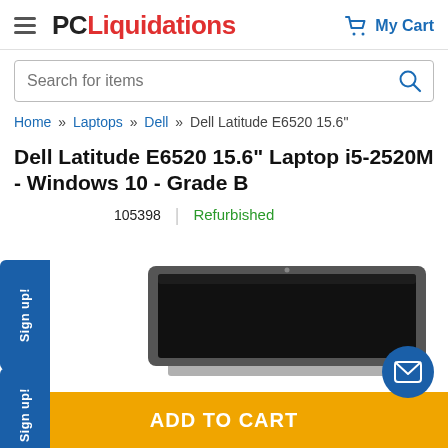PC Liquidations | My Cart
Search for items
Home » Laptops » Dell » Dell Latitude E6520 15.6"
Dell Latitude E6520 15.6" Laptop i5-2520M - Windows 10 - Grade B
105398  |  Refurbished
[Figure (photo): Dell laptop open, showing dark screen, viewed from front at an angle, positioned in lower right area of page]
Sign up!
Sign up!
ADD TO CART